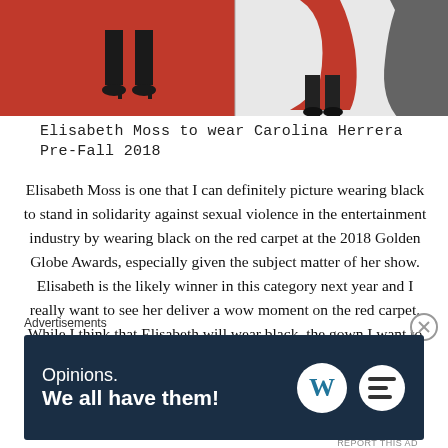[Figure (photo): Partial view of two people standing on a red carpet, showing only their legs/feet. Left side shows a person in black pants and black heels on red background. Right side shows a person in a red dress with black heels on white background.]
Elisabeth Moss to wear Carolina Herrera Pre-Fall 2018
Elisabeth Moss is one that I can definitely picture wearing black to stand in solidarity against sexual violence in the entertainment industry by wearing black on the red carpet at the 2018 Golden Globe Awards, especially given the subject matter of her show. Elisabeth is the likely winner in this category next year and I really want to see her deliver a wow moment on the red carpet. While I think that Elisabeth will wear black, the gown I want to see her wearing is
Advertisements
[Figure (screenshot): Advertisement banner with dark navy background. Text reads 'Opinions. We all have them!' in white. WordPress logo (white W in circle) and another circular logo on the right side.]